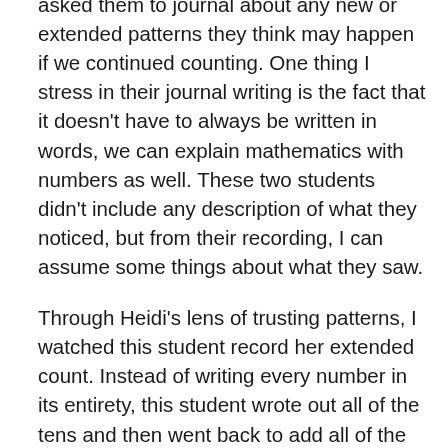asked them to journal about any new or extended patterns they think may happen if we continued counting. One thing I stress in their journal writing is the fact that it doesn't have to always be written in words, we can explain mathematics with numbers as well. These two students didn't include any description of what they noticed, but from their recording, I can assume some things about what they saw.
Through Heidi's lens of trusting patterns, I watched this student record her extended count. Instead of writing every number in its entirety, this student wrote out all of the tens and then went back to add all of the 4s on. I asked her how she could show the pattern she noticed and she quickly went back to underline all of the tens. She trusted the pattern that the tens would continue going up by 1 and the ones place would stay the same throughout